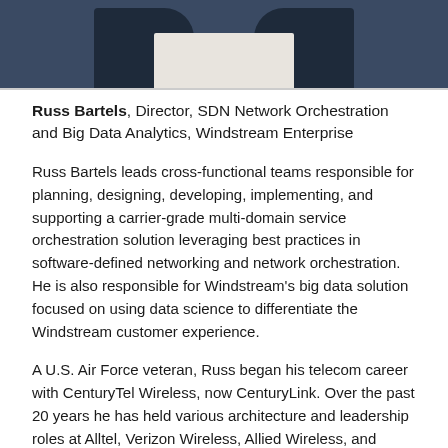[Figure (photo): Cropped photo of Russ Bartels, showing bottom portion of face/neck area, wearing a dark navy suit with white/light shirt, against a dark blue background.]
Russ Bartels, Director, SDN Network Orchestration and Big Data Analytics, Windstream Enterprise
Russ Bartels leads cross-functional teams responsible for planning, designing, developing, implementing, and supporting a carrier-grade multi-domain service orchestration solution leveraging best practices in software-defined networking and network orchestration. He is also responsible for Windstream's big data solution focused on using data science to differentiate the Windstream customer experience.
A U.S. Air Force veteran, Russ began his telecom career with CenturyTel Wireless, now CenturyLink. Over the past 20 years he has held various architecture and leadership roles at Alltel, Verizon Wireless, Allied Wireless, and AT&T. In addition to his current SDN